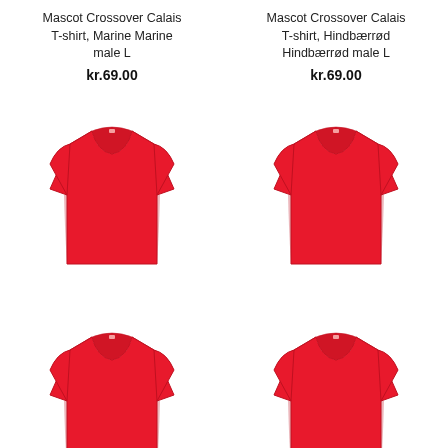Mascot Crossover Calais T-shirt, Marine Marine male L
kr.69.00
[Figure (photo): Red Mascot Crossover Calais T-shirt, front view, male L]
Mascot Crossover Calais T-shirt, Hindbærrød Hindbærrød male L
kr.69.00
[Figure (photo): Red Mascot Crossover Calais T-shirt, front view, Hindbærrød male L]
Mascot Crossover Calais T-shirt, Hindbærrød Hindbærrød male M
kr.69.00
Mascot Crossover Calais T-shirt, Hindbærrød Hindbærrød male 2XL
kr.69.00